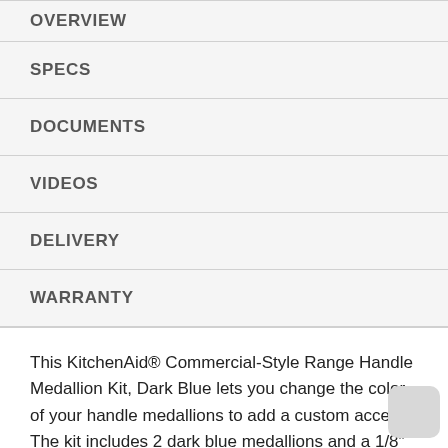OVERVIEW
SPECS
DOCUMENTS
VIDEOS
DELIVERY
WARRANTY
This KitchenAid® Commercial-Style Range Handle Medallion Kit, Dark Blue lets you change the color of your handle medallions to add a custom accent. The kit includes 2 dark blue medallions and a 1/8" hex allen wrench for easy replacement. Order one medallion kit per range handle. Installation of these handle medallions requires basic hand tools and novice repair experience.